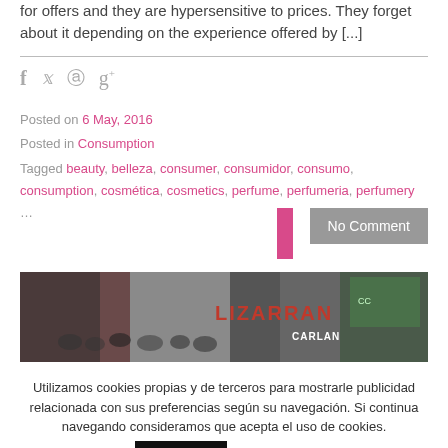for offers and they are hypersensitive to prices. They forget about it depending on the experience offered by [...]
Posted on 6 May, 2016
Posted in Consumption
Tagged beauty, belleza, consumer, consumidor, consumo, consumption, cosmética, cosmetics, perfume, perfumeria, perfumery
No Comment
[Figure (photo): Exhibition hall crowd photo with Lizarran and Carlan signage visible]
Utilizamos cookies propias y de terceros para mostrarle publicidad relacionada con sus preferencias según su navegación. Si continua navegando consideramos que acepta el uso de cookies. Aceptar Leer más